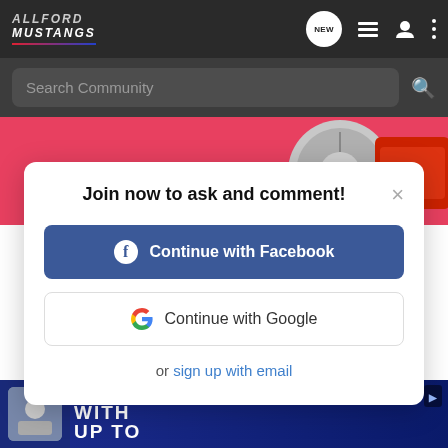ALLFORD MUSTANGS
[Figure (screenshot): Search Community bar with magnifying glass icon on dark background]
[Figure (photo): Pink/red banner with chrome exhaust pipe and Brembo brake rotor with red caliper]
Join now to ask and comment!
[Figure (screenshot): Continue with Facebook button (blue)]
[Figure (screenshot): Continue with Google button (white with Google G logo)]
or sign up with email
[Figure (screenshot): Bottom advertisement strip showing blue background with WITH / UP TO text and a product image]